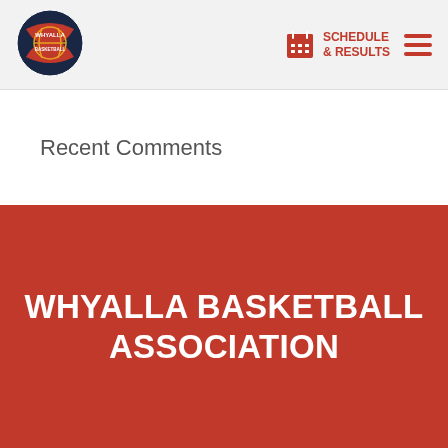[Figure (logo): Whyalla Basketball Association logo - circular badge with basketball graphic]
SCHEDULE & RESULTS
Recent Comments
[Figure (illustration): Dark navy background with large red circle and white bold text reading WHYALLA BASKETBALL ASSOCIATION]
WHYALLA BASKETBALL ASSOCIATION